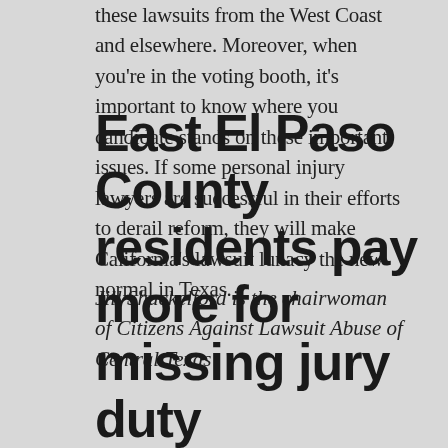these lawsuits from the West Coast and elsewhere. Moreover, when you're in the voting booth, it's important to know where you candidate stands on these important issues. If some personal injury lawyers are successful in their efforts to derail reform, they will make California's lawsuit lunacy the new normal in Texas.
Jill Shackelford is the chairwoman of Citizens Against Lawsuit Abuse of Central Texas
East El Paso County residents pay more for missing jury duty